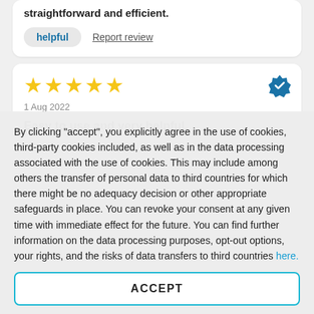straightforward and efficient.
helpful   Report review
★★★★★
1 Aug 2022
Easy to use and very helpful.
By clicking "accept", you explicitly agree in the use of cookies, third-party cookies included, as well as in the data processing associated with the use of cookies. This may include among others the transfer of personal data to third countries for which there might be no adequacy decision or other appropriate safeguards in place. You can revoke your consent at any given time with immediate effect for the future. You can find further information on the data processing purposes, opt-out options, your rights, and the risks of data transfers to third countries here.
ACCEPT